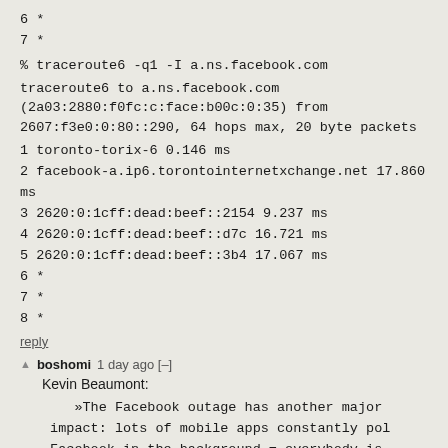6 *
7 *
% traceroute6 -q1 -I a.ns.facebook.com
traceroute6 to a.ns.facebook.com (2a03:2880:f0fc:c:face:b00c:0:35) from 2607:f3e0:0:80::290, 64 hops max, 20 byte packets
1 toronto-torix-6 0.146 ms
2 facebook-a.ip6.torontointernetxchange.net 17.860 ms
3 2620:0:1cff:dead:beef::2154 9.237 ms
4 2620:0:1cff:dead:beef::d7c 16.721 ms
5 2620:0:1cff:dead:beef::3b4 17.067 ms
6 *
7 *
8 *
reply
boshomi 1 day ago [–]
Kevin Beaumont:
»The Facebook outage has another major impact: lots of mobile apps constantly pol Facebook in the background = everybody is being slammed who runs large scale DNS, so